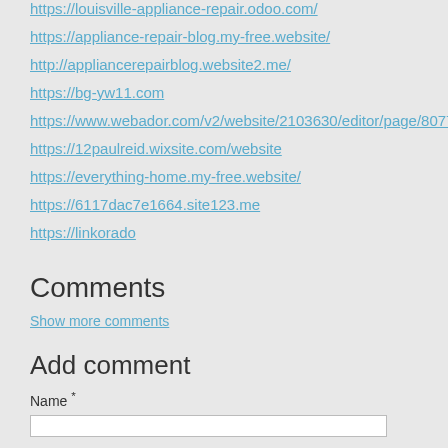https://louisville-appliance-repair.odoo.com/
https://appliance-repair-blog.my-free.website/
http://appliancerepairblog.website2.me/
https://bg-yw11.com
https://www.webador.com/v2/website/2103630/editor/page/8077909
https://12paulreid.wixsite.com/website
https://everything-home.my-free.website/
https://6117dac7e1664.site123.me
https://linkorado
Comments
Show more comments
Add comment
Name *